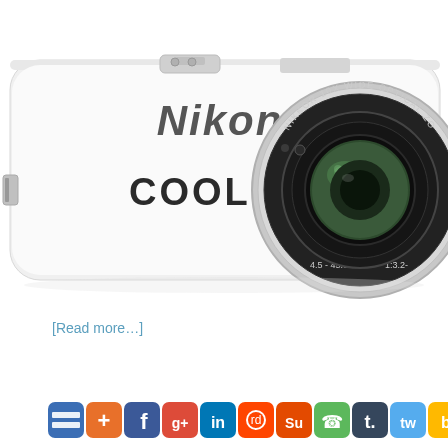[Figure (photo): White Nikon Coolpix camera, front view showing lens with NIKKOR 10X WIDE OPTICAL ZOOM inscription, 4.5-45.0mm 1:3.2 aperture markings, and COOLPIX branding on the body]
[Read more…]
[Figure (infographic): Row of social media sharing icons: Delicious, AddThis, Facebook, Google+, LinkedIn, Reddit, StumbleUpon, Digg/Phone, Tumblr, Twitter, Bing, RSS, Print, Favorites/Star, Email]